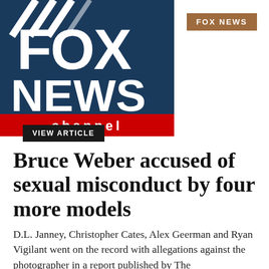[Figure (logo): Fox News Channel logo with white FOX text on dark blue background with white slash marks, red channel bar with white 'channel' text]
FOX NEWS
Bruce Weber accused of sexual misconduct by four more models
D.L. Janney, Christopher Cates, Alex Geerman and Ryan Vigilant went on the record with allegations against the photographer in a report published by The